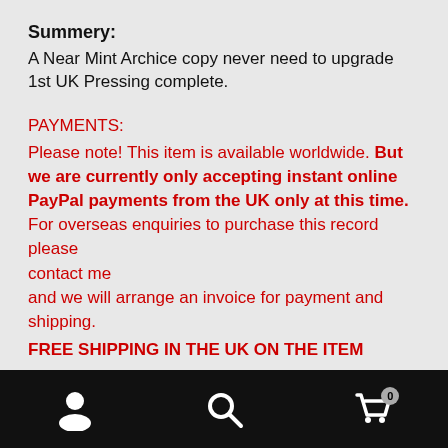Summery:
A Near Mint Archice copy never need to upgrade 1st UK Pressing complete.
PAYMENTS:
Please note! This item is available worldwide. But we are currently only accepting instant online PayPal payments from the UK only at this time. For overseas enquiries to purchase this record please contact me and we will arrange an invoice for payment and shipping.
FREE SHIPPING IN THE UK ON THE ITEM